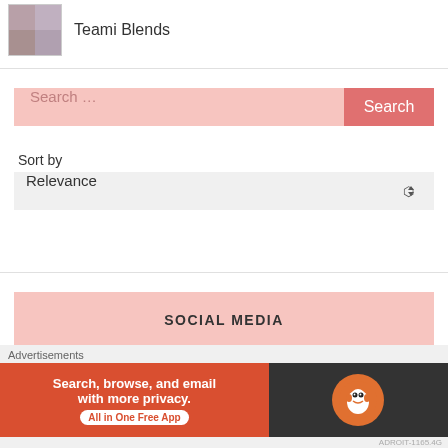Teami Blends
[Figure (screenshot): Search bar with pink background and Search button, Sort by label with Relevance dropdown selector]
SOCIAL MEDIA
[Figure (screenshot): Two circular social media icon buttons at bottom left, close button (X in circle) at bottom right]
Advertisements
[Figure (infographic): DuckDuckGo advertisement banner: Search, browse, and email with more privacy. All in One Free App. DuckDuckGo logo on dark background.]